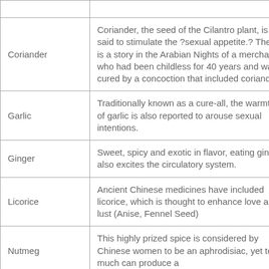|  |  |
| --- | --- |
| Coriander | Coriander, the seed of the Cilantro plant, is said to stimulate the ?sexual appetite.? There is a story in the Arabian Nights of a merchant who had been childless for 40 years and was cured by a concoction that included coriander. |
| Garlic | Traditionally known as a cure-all, the warmth of garlic is also reported to arouse sexual intentions. |
| Ginger | Sweet, spicy and exotic in flavor, eating ginger also excites the circulatory system. |
| Licorice | Ancient Chinese medicines have included licorice, which is thought to enhance love and lust (Anise, Fennel Seed) |
| Nutmeg | This highly prized spice is considered by Chinese women to be an aphrodisiac, yet too much can produce a |